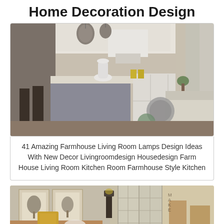Home Decoration Design
[Figure (photo): Farmhouse-style open-plan kitchen and living room with white cabinetry, gray island, bar stools, pendant lights, and decorative vases]
41 Amazing Farmhouse Living Room Lamps Design Ideas With New Decor Livingroomdesign Housedesign Farm House Living Room Kitchen Room Farmhouse Style Kitchen
[Figure (photo): Farmhouse living room with wooden bench, botanical wall art, yellow patterned pillows, and French doors with natural light]